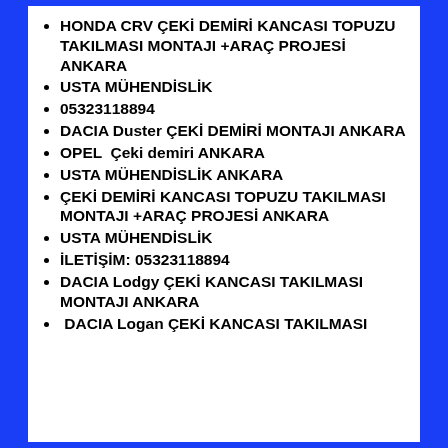HONDA CRV ÇEKİ DEMİRİ KANCASI TOPUZU TAKILMASI MONTAJI +ARAÇ PROJESİ ANKARA
USTA MÜHENDİSLİK
05323118894
DACIA Duster ÇEKİ DEMİRİ MONTAJI ANKARA
OPEL  Çeki demiri ANKARA
USTA MÜHENDİSLİK ANKARA
ÇEKİ DEMİRİ KANCASI TOPUZU TAKILMASI MONTAJI +ARAÇ PROJESİ ANKARA
USTA MÜHENDİSLİK
İLETİŞİM: 05323118894
DACIA Lodgy ÇEKİ KANCASI TAKILMASI MONTAJI ANKARA
DACIA Logan ÇEKİ KANCASI TAKILMASI